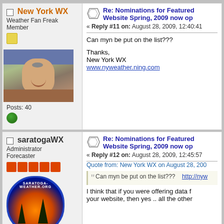New York WX
Weather Fan Freak
Member
Posts: 40
Re: Nominations for Featured Website Spring, 2009 now op
« Reply #11 on: August 28, 2009, 12:40:41
Can myn be put on the list???
Thanks,
New York WX
www.nyweather.ning.com
saratogaWX
Administrator
Forecaster
Re: Nominations for Featured Website Spring, 2009 now op
« Reply #12 on: August 28, 2009, 12:45:57
Quote from: New York WX on August 28, 200
Can myn be put on the list???    http://nyw
I think that if you were offering data f your website, then yes .. all the other